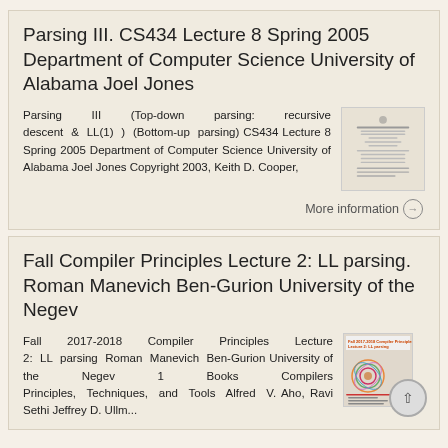Parsing III. CS434 Lecture 8 Spring 2005 Department of Computer Science University of Alabama Joel Jones
Parsing III (Top-down parsing: recursive descent & LL(1) ) (Bottom-up parsing) CS434 Lecture 8 Spring 2005 Department of Computer Science University of Alabama Joel Jones Copyright 2003, Keith D. Cooper,
More information →
Fall Compiler Principles Lecture 2: LL parsing. Roman Manevich Ben-Gurion University of the Negev
Fall 2017-2018 Compiler Principles Lecture 2: LL parsing Roman Manevich Ben-Gurion University of the Negev 1 Books Compilers Principles, Techniques, and Tools Alfred V. Aho, Ravi Sethi Jeffrey D. Ullman